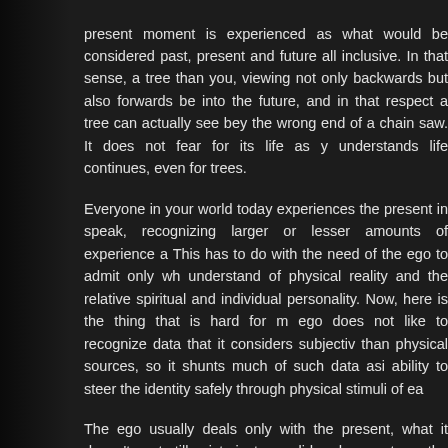present moment is experienced as what would be considered past, present and future all inclusive. In that sense, a tree than you, viewing not only backwards but also forwards be into the future, and in that respect a tree can actually see bey the wrong end of a chain saw. It does not fear for its life as y understands life continues, even for trees. Everyone in your world today experiences the present in speak, recognizing larger or lesser amounts of experience a This has to do with the need of the ego to admit only wh understand of physical reality and the relative spiritual and individual personality. Now, here is the thing that is hard for m ego does not like to recognize data that it considers subjectiv than physical sources, so it shunts much of such data asi ability to steer the identity safely through physical stimuli of ea The ego usually deals only with the present, what it doesn't past still exists just as solid and concrete as the present, bu events in a linear time sequence, one following another, you in order to concentrate your attention on the present. The pas you do. In your time sequenced reality, one event must kn order to perceive the next event. The structure and valid